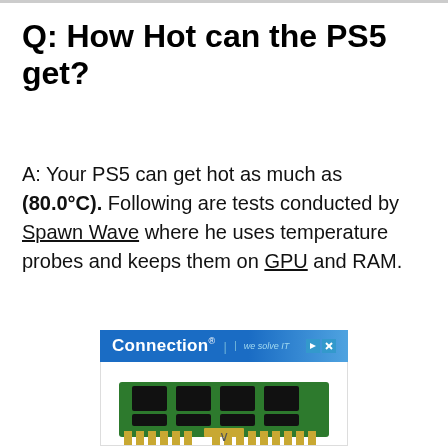Q: How Hot can the PS5 get?
A: Your PS5 can get hot as much as (80.0°C). Following are tests conducted by Spawn Wave where he uses temperature probes and keeps them on GPU and RAM.
[Figure (screenshot): Advertisement banner for 'Connection – we solve IT' with a RAM module image below.]